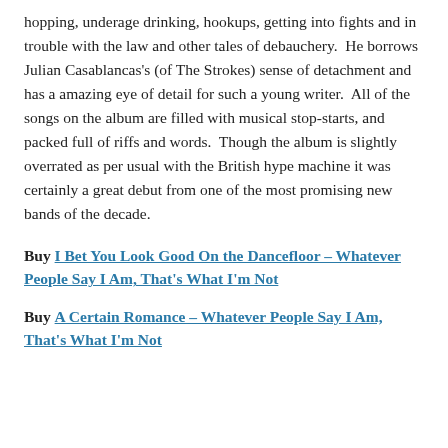hopping, underage drinking, hookups, getting into fights and in trouble with the law and other tales of debauchery.  He borrows Julian Casablancas's (of The Strokes) sense of detachment and has a amazing eye of detail for such a young writer.  All of the songs on the album are filled with musical stop-starts, and packed full of riffs and words.  Though the album is slightly overrated as per usual with the British hype machine it was certainly a great debut from one of the most promising new bands of the decade.
Buy I Bet You Look Good On the Dancefloor – Whatever People Say I Am, That's What I'm Not
Buy A Certain Romance – Whatever People Say I Am, That's What I'm Not